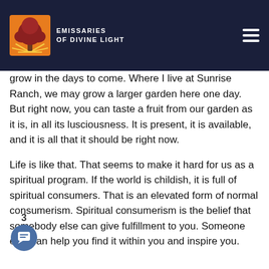Emissaries of Divine Light
grow in the days to come. Where I live at Sunrise Ranch, we may grow a larger garden here one day. But right now, you can taste a fruit from our garden as it is, in all its lusciousness. It is present, it is available, and it is all that it should be right now.
Life is like that. That seems to make it hard for us as a spiritual program. If the world is childish, it is full of spiritual consumers. That is an elevated form of normal consumerism. Spiritual consumerism is the belief that somebody else can give fulfillment to you. Someone else can help you find it within you and inspire you.